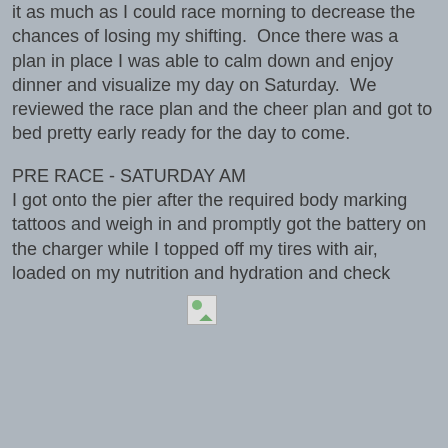it as much as I could race morning to decrease the chances of losing my shifting.  Once there was a plan in place I was able to calm down and enjoy dinner and visualize my day on Saturday.  We reviewed the race plan and the cheer plan and got to bed pretty early ready for the day to come.
PRE RACE - SATURDAY AM
I got onto the pier after the required body marking tattoos and weigh in and promptly got the battery on the charger while I topped off my tires with air, loaded on my nutrition and hydration and check
[Figure (photo): Broken image placeholder icon, small image with green leaf/triangle graphic]